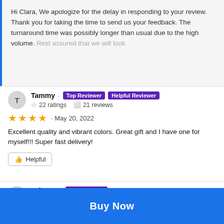Hi Clara, We apologize for the delay in responding to your review. Thank you for taking the time to send us your feedback. The turnaround time was possibly longer than usual due to the high volume. Rest assured that we will look
Tammy · Top Reviewer Helpful Reviewer
☆ 22 ratings  ☐ 21 reviews
★★★★ · May 20, 2022
Excellent quality and vibrant colors. Great gift and I have one for myself!!! Super fast delivery!
Helpful
Brittany · Top Reviewer
☆ 16 ratings  ☐ 9 reviews
Buy Now